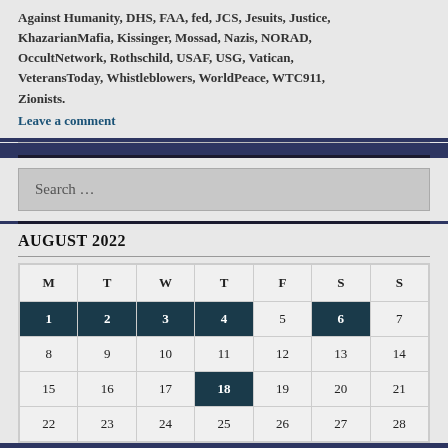Against Humanity, DHS, FAA, fed, JCS, Jesuits, Justice, KhazarianMafia, Kissinger, Mossad, Nazis, NORAD, OccultNetwork, Rothschild, USAF, USG, Vatican, VeteransToday, Whistleblowers, WorldPeace, WTC911, Zionists.
Leave a comment
AUGUST 2022
| M | T | W | T | F | S | S |
| --- | --- | --- | --- | --- | --- | --- |
| 1 | 2 | 3 | 4 | 5 | 6 | 7 |
| 8 | 9 | 10 | 11 | 12 | 13 | 14 |
| 15 | 16 | 17 | 18 | 19 | 20 | 21 |
| 22 | 23 | 24 | 25 | 26 | 27 | 28 |